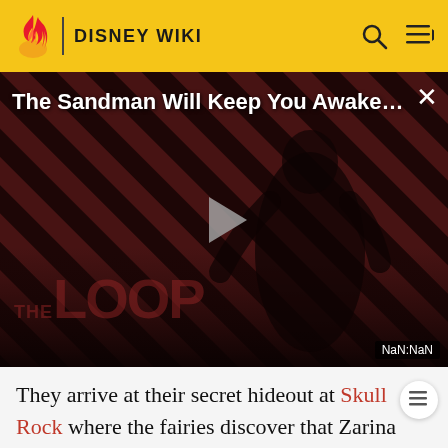DISNEY WIKI
[Figure (screenshot): Video player showing 'The Sandman Will Keep You Awake...' with a dark-themed thumbnail featuring a figure in black against red diagonal stripes, a play button in the center, 'THE LOOP' watermark, and NaN:NaN timestamp. Close button (x) in top right.]
They arrive at their secret hideout at Skull Rock where the fairies discover that Zarina and the pirates have grown a Pixie Dust Tree of their own. After docking, the pirates begin to work on making the dust. The fairies attempt to get the Blue Dust back again, but Iridessa was